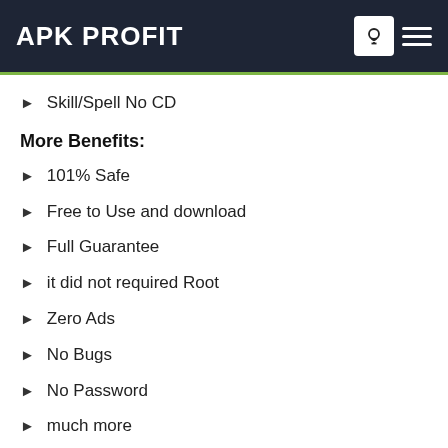APK PROFIT
Skill/Spell No CD
More Benefits:
101% Safe
Free to Use and download
Full Guarantee
it did not required Root
Zero Ads
No Bugs
No Password
much more
Likewise there are so much amazing thing which the users can get in Mitsuki modz apk to make their gameplay more